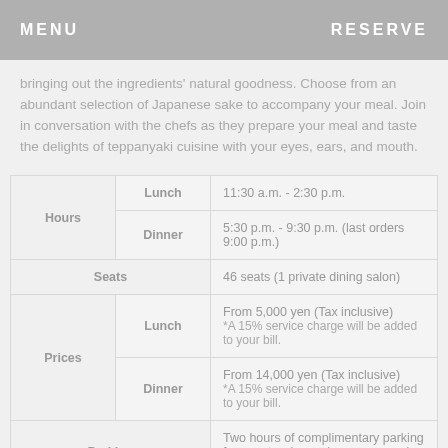MENU   RESERVE
bringing out the ingredients' natural goodness. Choose from an abundant selection of Japanese sake to accompany your meal. Join in conversation with the chefs as they prepare your meal and taste the delights of teppanyaki cuisine with your eyes, ears, and mouth.
| Hours | Lunch | 11:30 a.m. - 2:30 p.m. |
| Hours | Dinner | 5:30 p.m. - 9:30 p.m. (last orders 9:00 p.m.) |
| Seats |  | 46 seats (1 private dining salon) |
| Prices | Lunch | From 5,000 yen (Tax inclusive)
*A 15% service charge will be added to your bill. |
| Prices | Dinner | From 14,000 yen (Tax inclusive)
*A 15% service charge will be added to your bill. |
| Parking |  | Two hours of complimentary parking for guests whose charges exceed 3,000 yen. |